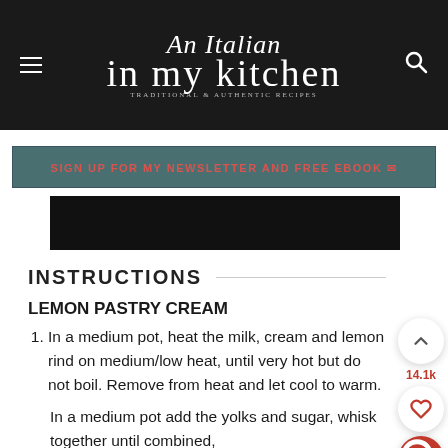An Italian in my kitchen
SIGN UP FOR MY NEWSLETTER AND FREE EBOOK
[Figure (photo): Dark image strip, partial photo of food]
INSTRUCTIONS
LEMON PASTRY CREAM
In a medium pot, heat the milk, cream and lemon rind on medium/low heat, until very hot but do not boil. Remove from heat and let cool to warm.
In a medium pot add the yolks and sugar, whisk together until combined, then add the flour and vanilla, whisk